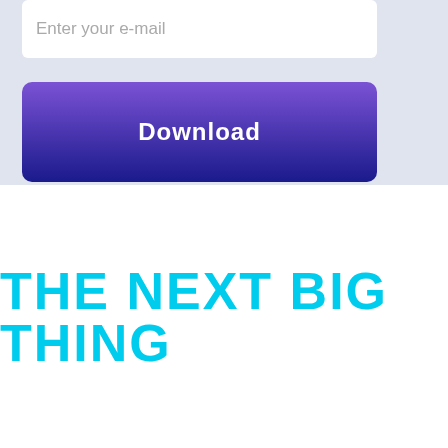Enter your e-mail
[Figure (other): Download button with gradient purple background]
THE NEXT BIG THING